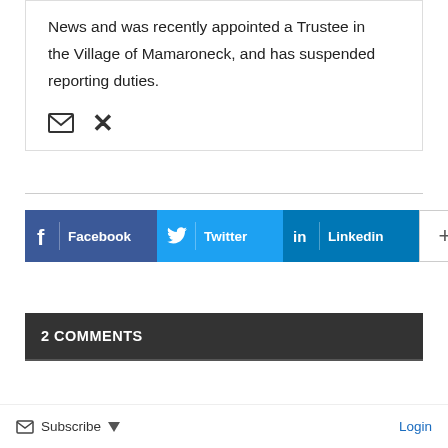News and was recently appointed a Trustee in the Village of Mamaroneck, and has suspended reporting duties.
[Figure (illustration): Email envelope icon and Xing social media icon]
[Figure (infographic): Social share buttons: Facebook, Twitter, Linkedin, and a plus/more button]
2 COMMENTS
Subscribe  Login